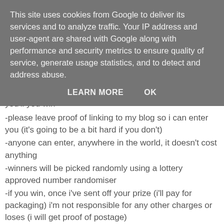This site uses cookies from Google to deliver its services and to analyze traffic. Your IP address and user-agent are shared with Google along with performance and security metrics to ensure quality of service, generate usage statistics, and to detect and address abuse.
LEARN MORE   OK
you'll you win
-please leave proof of linking to my blog so i can enter you (it's going to be a bit hard if you don't)
-anyone can enter, anywhere in the world, it doesn't cost anything
-winners will be picked randomly using a lottery approved number randomiser
-if you win, once i've sent off your prize (i'll pay for packaging) i'm not responsible for any other charges or loses (i will get proof of postage)
-no cash alternative
- you do not need to use blogger to enter
anything else? email me at hiven@live.co.uk